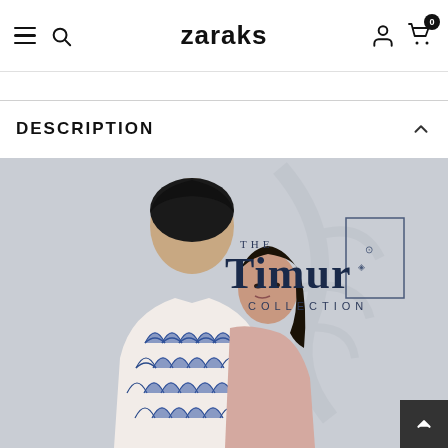zaraks
DESCRIPTION
[Figure (photo): Fashion photo showing a man (back view) wearing a blue and white patterned batik/traditional shirt and a woman beside him in a pink outfit, with 'THE Timur COLLECTION' text overlay in the upper right.]